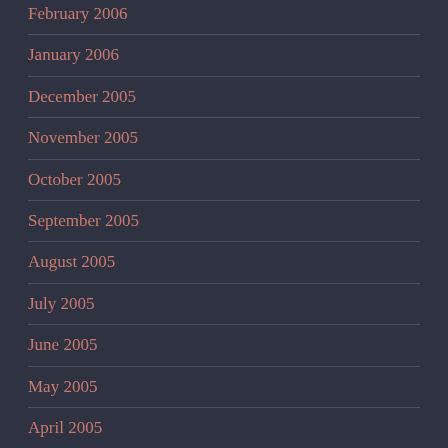February 2006
January 2006
December 2005
November 2005
October 2005
September 2005
August 2005
July 2005
June 2005
May 2005
April 2005
March 2005